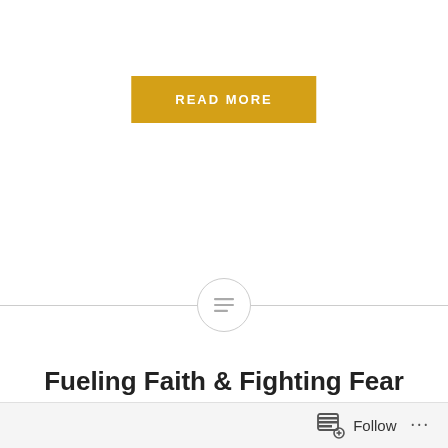READ MORE
[Figure (illustration): Decorative horizontal divider with a circle containing a lines/menu icon in the center, flanked by gray horizontal lines on each side]
Fueling Faith & Fighting Fear
For God has not given us a spirit of fear and timidity, but of power, love, and self-discipline. (2 Timothy 1:7 NLT) My family loves hockey, especially ice hockey. Although ice hockey is still becoming more and more popular in the western United States, it is still quite expensive and less
Follow ...